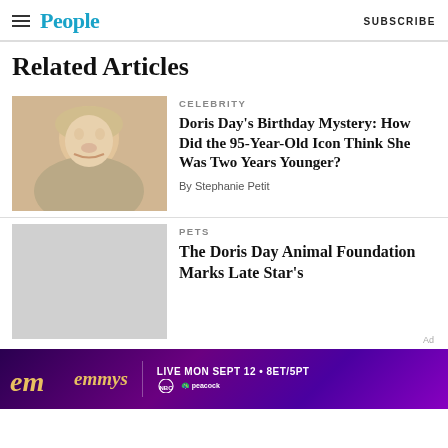People | SUBSCRIBE
Related Articles
[Figure (photo): Photo of Doris Day, an elderly woman with short blonde hair, smiling widely]
CELEBRITY
Doris Day's Birthday Mystery: How Did the 95-Year-Old Icon Think She Was Two Years Younger?
By Stephanie Petit
[Figure (photo): Gray placeholder image for second article]
PETS
The Doris Day Animal Foundation Marks Late Star's…
[Figure (other): Emmys advertisement banner: LIVE MON SEPT 12 • 8ET/5PT NBC | peacock]